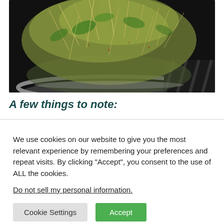[Figure (photo): Close-up photo of sprouts/microgreens in a round metal tray/pan against a dark background]
A few things to note:
We use cookies on our website to give you the most relevant experience by remembering your preferences and repeat visits. By clicking “Accept”, you consent to the use of ALL the cookies.
Do not sell my personal information.